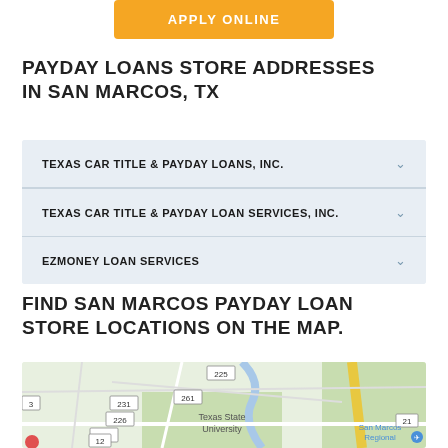APPLY ONLINE
PAYDAY LOANS STORE ADDRESSES IN SAN MARCOS, TX
TEXAS CAR TITLE & PAYDAY LOANS, INC.
TEXAS CAR TITLE & PAYDAY LOAN SERVICES, INC.
EZMONEY LOAN SERVICES
FIND SAN MARCOS PAYDAY LOAN STORE LOCATIONS ON THE MAP.
[Figure (map): Google Maps view of San Marcos, TX area showing Texas State University, San Marcos Regional, and road numbers 225, 231, 226, 261, 243, 12, 21.]